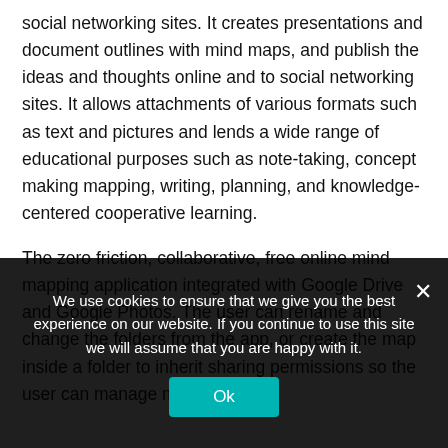social networking sites. It creates presentations and document outlines with mind maps, and publish the ideas and thoughts online and to social networking sites. It allows attachments of various formats such as text and pictures and lends a wide range of educational purposes such as note-taking, concept making mapping, writing, planning, and knowledge-centered cooperative learning.
The zero friction, collaborative, free online mind mapping application integrated with Google Drive and Google Photos. The user can rename and change the folders from the app, or create the map inside a folder to inherit sharing permissions so the user can manage maps easier.
We use cookies to ensure that we give you the best experience on our website. If you continue to use this site we will assume that you are happy with it.